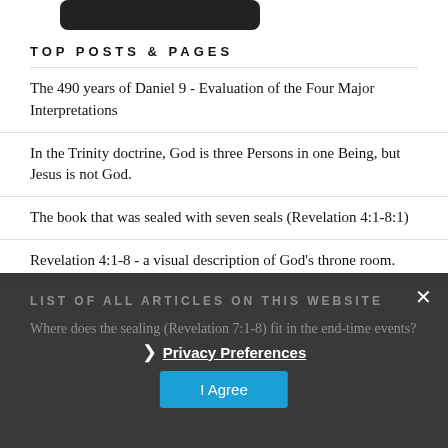[Figure (illustration): Partial top of a dark rounded button/image element cut off at the top of the page]
TOP POSTS & PAGES
The 490 years of Daniel 9 - Evaluation of the Four Major Interpretations
In the Trinity doctrine, God is three Persons in one Being, but Jesus is not God.
The book that was sealed with seven seals (Revelation 4:1-8:1)
Revelation 4:1-8 - a visual description of God's throne room.
LIST OF ALL ARTICLES ON THIS WEBSITE
Where does the sealing (Revelation 7:1-8) fit in the end-time events?
Privacy Preferences
I Agree